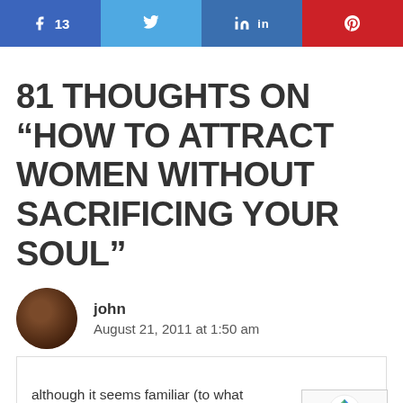[Figure (other): Social media share bar with Facebook (13 shares), Twitter, LinkedIn, and Pinterest buttons]
81 THOUGHTS ON “HOW TO ATTRACT WOMEN WITHOUT SACRIFICING YOUR SOUL”
john
August 21, 2011 at 1:50 am
although it seems familiar (to what you wrote in the past), it’s a golden